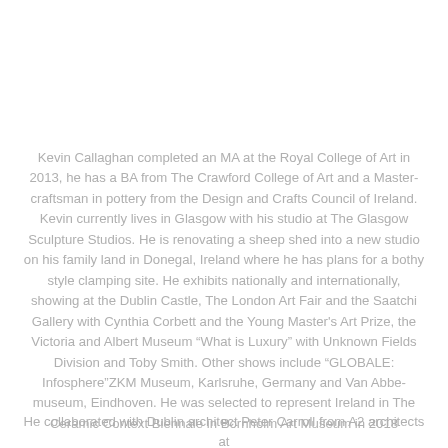Kevin Callaghan completed an MA at the Royal College of Art in 2013, he has a BA from The Crawford College of Art and a Master-craftsman in pottery from the Design and Crafts Council of Ireland. Kevin currently lives in Glasgow with his studio at The Glasgow Sculpture Studios. He is renovating a sheep shed into a new studio on his family land in Donegal, Ireland where he has plans for a bothy style clamping site. He exhibits nationally and internationally, showing at the Dublin Castle, The London Art Fair and the Saatchi Gallery with Cynthia Corbett and the Young Master's Art Prize, the Victoria and Albert Museum “What is Luxury” with Unknown Fields Division and Toby Smith. Other shows include “GLOBALE: Infosphere”ZKM Museum, Karlsruhe, Germany and Van Abbe-museum, Eindhoven. He was selected to represent Ireland in The Ceramic Context Biennale in Bornholm Art Museum in 2018
He collaborated with Dublin architect Peter Carroll from A2 architects at